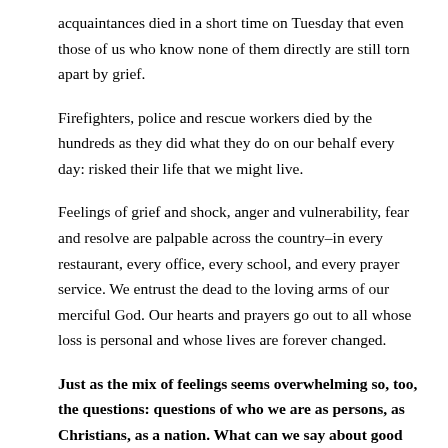acquaintances died in a short time on Tuesday that even those of us who know none of them directly are still torn apart by grief.
Firefighters, police and rescue workers died by the hundreds as they did what they do on our behalf every day: risked their life that we might live.
Feelings of grief and shock, anger and vulnerability, fear and resolve are palpable across the country–in every restaurant, every office, every school, and every prayer service. We entrust the dead to the loving arms of our merciful God. Our hearts and prayers go out to all whose loss is personal and whose lives are forever changed.
Just as the mix of feelings seems overwhelming so, too, the questions: questions of who we are as persons, as Christians, as a nation. What can we say about good and evil and God in the light of such horror? How do we respond – justly, appropriately and faithfully, working towards safety and peace in the world – without resorting to the evils we deplore?